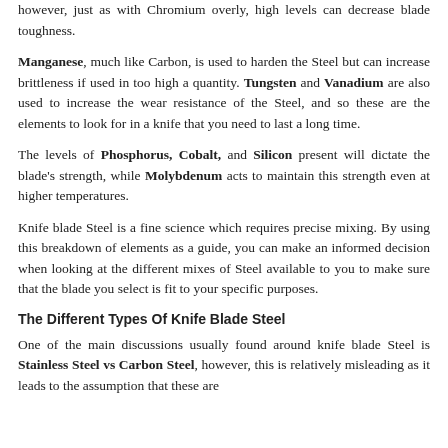however, just as with Chromium overly, high levels can decrease blade toughness.
Manganese, much like Carbon, is used to harden the Steel but can increase brittleness if used in too high a quantity. Tungsten and Vanadium are also used to increase the wear resistance of the Steel, and so these are the elements to look for in a knife that you need to last a long time.
The levels of Phosphorus, Cobalt, and Silicon present will dictate the blade's strength, while Molybdenum acts to maintain this strength even at higher temperatures.
Knife blade Steel is a fine science which requires precise mixing. By using this breakdown of elements as a guide, you can make an informed decision when looking at the different mixes of Steel available to you to make sure that the blade you select is fit to your specific purposes.
The Different Types Of Knife Blade Steel
One of the main discussions usually found around knife blade Steel is Stainless Steel vs Carbon Steel, however, this is relatively misleading as it leads to the assumption that these are